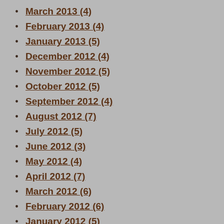March 2013 (4)
February 2013 (4)
January 2013 (5)
December 2012 (4)
November 2012 (5)
October 2012 (5)
September 2012 (4)
August 2012 (7)
July 2012 (5)
June 2012 (3)
May 2012 (4)
April 2012 (7)
March 2012 (6)
February 2012 (6)
January 2012 (5)
December 2011 (4)